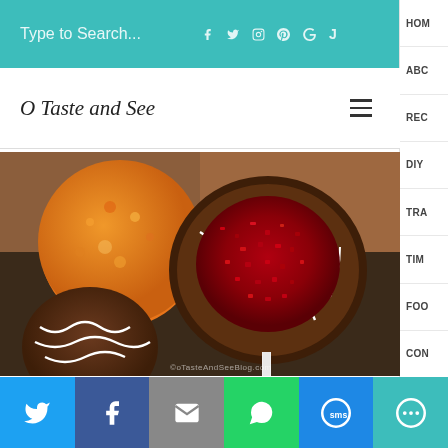Type to Search...
[Figure (logo): O Taste and See blog logo in script font]
[Figure (photo): Close-up photo of cake pops on sticks: one bitten red velvet cake pop with chocolate coating and white drizzle in the foreground, an orange sugar-coated cake pop in the background left, and a chocolate drizzled brown cake pop at the bottom. Watermark reads otasteandseeblog.com]
Twitter | Facebook | Email | WhatsApp | SMS | More